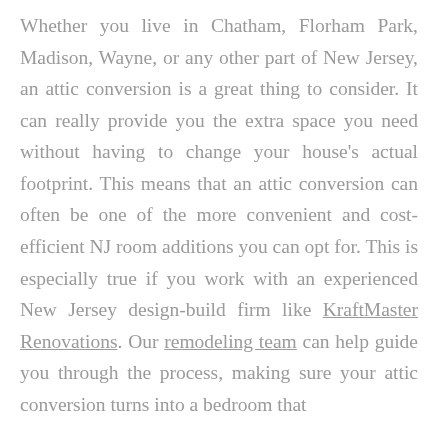Whether you live in Chatham, Florham Park, Madison, Wayne, or any other part of New Jersey, an attic conversion is a great thing to consider. It can really provide you the extra space you need without having to change your house's actual footprint. This means that an attic conversion can often be one of the more convenient and cost-efficient NJ room additions you can opt for. This is especially true if you work with an experienced New Jersey design-build firm like KraftMaster Renovations. Our remodeling team can help guide you through the process, making sure your attic conversion turns into a bedroom that